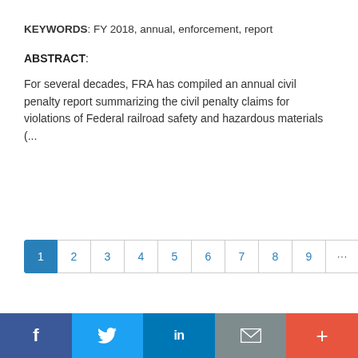KEYWORDS: FY 2018, annual, enforcement, report
ABSTRACT:
For several decades, FRA has compiled an annual civil penalty report summarizing the civil penalty claims for violations of Federal railroad safety and hazardous materials (...
[Figure (other): Pagination control showing page buttons 1 through 9 with ellipsis, next (›), and last (») buttons. Page 1 is active/selected with blue background.]
f  [Twitter bird]  in  [envelope]  +